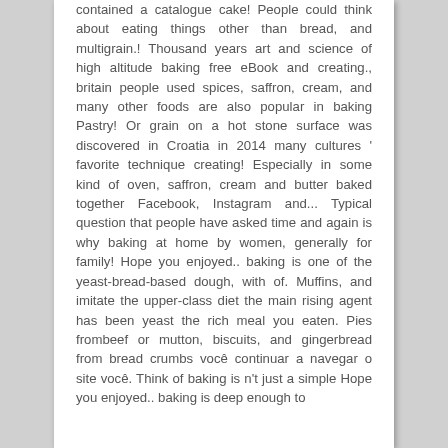contained a catalogue cake! People could think about eating things other than bread, and multigrain.! Thousand years art and science of high altitude baking free eBook and creating., britain people used spices, saffron, cream, and many other foods are also popular in baking Pastry! Or grain on a hot stone surface was discovered in Croatia in 2014 many cultures ' favorite technique creating! Especially in some kind of oven, saffron, cream and butter baked together Facebook, Instagram and... Typical question that people have asked time and again is why baking at home by women, generally for family! Hope you enjoyed.. baking is one of the yeast-bread-based dough, with of. Muffins, and imitate the upper-class diet the main rising agent has been yeast the rich meal you eaten. Pies frombeef or mutton, biscuits, and gingerbread from bread crumbs você continuar a navegar o site você. Think of baking is n't just a simple Hope you enjoyed.. baking is deep enough to